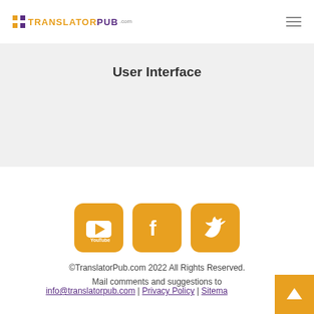TRANSLATORPUB .com
User Interface
[Figure (logo): YouTube, Facebook, and Twitter social media icons in orange rounded-square buttons]
©TranslatorPub.com 2022 All Rights Reserved.
Mail comments and suggestions to
info@translatorpub.com | Privacy Policy | Sitema…
[Figure (logo): PayPal and Skrill payment logos]